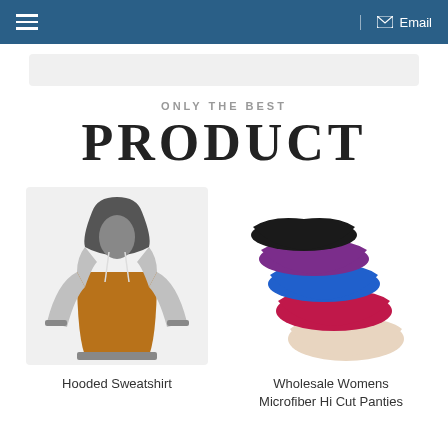≡  Email
ONLY THE BEST
PRODUCT
[Figure (photo): Hooded Sweatshirt with gray sleeves, brown/orange body, and dark gray hood area]
Hooded Sweatshirt
[Figure (photo): Stacked multicolor women's microfiber hi cut panties in black, purple, blue, red/pink, and beige]
Wholesale Womens Microfiber Hi Cut Panties